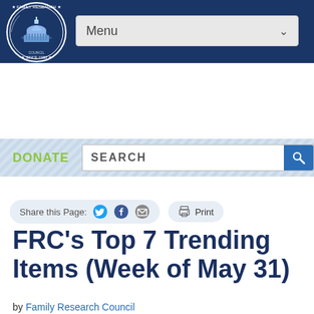[Figure (logo): Family Research Council circular logo with Capitol building, 'SINCE 1983' text around the border, on dark navy background header with Menu dropdown]
DONATE
SEARCH
Share this Page:
FRC's Top 7 Trending Items (Week of May 31)
by Family Research Council